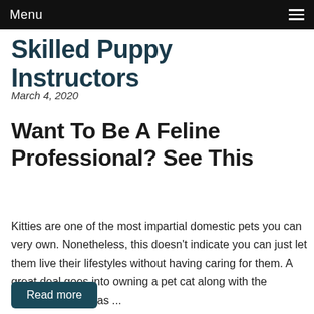Menu
Skilled Puppy Instructors
March 4, 2020
Want To Be A Feline Professional? See This
Kitties are one of the most impartial domestic pets you can very own. Nonetheless, this doesn't indicate you can just let them live their lifestyles without having caring for them. A great deal goes into owning a pet cat along with the following article has ...
Read more